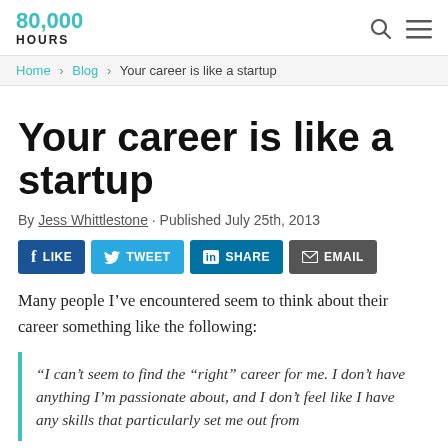80,000 HOURS
Home > Blog > Your career is like a startup
Your career is like a startup
By Jess Whittlestone · Published July 25th, 2013
[Figure (other): Social sharing buttons: LIKE, TWEET, SHARE, EMAIL]
Many people I've encountered seem to think about their career something like the following:
“I can’t seem to find the “right” career for me. I don’t have anything I’m passionate about, and I don’t feel like I have any skills that particularly set me out from…